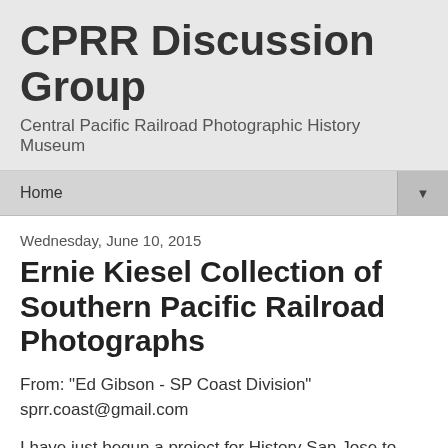CPRR Discussion Group
Central Pacific Railroad Photographic History Museum
Home
Wednesday, June 10, 2015
Ernie Kiesel Collection of Southern Pacific Railroad Photographs
From: "Ed Gibson - SP Coast Division"
sprr.coast@gmail.com
I have just begun a project for History San Jose to identify SP Coast Division (and "Coast-Side" of the later Western Division) railroaders in hundreds of circa 1900-1970 photographs that once were displayed on the Engineers Room wall of San Francisco's Seventh St. Diesel Shop, and at Mission Bay Roundhouse before that.